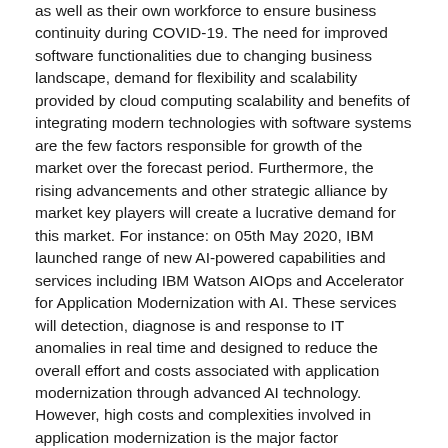as well as their own workforce to ensure business continuity during COVID-19. The need for improved software functionalities due to changing business landscape, demand for flexibility and scalability provided by cloud computing scalability and benefits of integrating modern technologies with software systems are the few factors responsible for growth of the market over the forecast period. Furthermore, the rising advancements and other strategic alliance by market key players will create a lucrative demand for this market. For instance: on 05th May 2020, IBM launched range of new AI-powered capabilities and services including IBM Watson AIOps and Accelerator for Application Modernization with AI. These services will detection, diagnose is and response to IT anomalies in real time and designed to reduce the overall effort and costs associated with application modernization through advanced AI technology. However, high costs and complexities involved in application modernization is the major factor restraining the growth of global Application Modernization Services market during the forecast period.
The regional analysis of global Application Modernization Services market is considered for the key regions such as Asia Pacific, North America, Europe, Latin America and Rest of the World. Asia Pacific